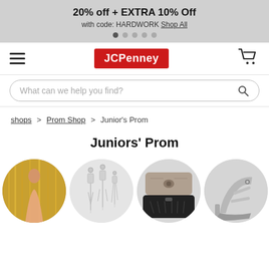20% off + EXTRA 10% Off
with code: HARDWORK Shop All
[Figure (screenshot): JCPenney website navigation bar with hamburger menu, JCPenney logo (red background, white text), and shopping cart icon]
[Figure (screenshot): Search bar with placeholder text 'What can we help you find?' and magnifying glass icon]
shops > Prom Shop > Junior's Prom
Juniors' Prom
[Figure (photo): Four circular category images: 1) Woman in pink/gold prom dress against gold tinsel backdrop; 2) Crystal drop earrings on grey background; 3) Grey and black evening clutch purses; 4) Silver strappy high heel shoe]